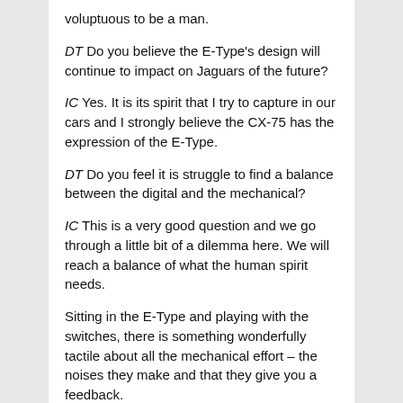voluptuous to be a man.
DT Do you believe the E-Type's design will continue to impact on Jaguars of the future?
IC Yes. It is its spirit that I try to capture in our cars and I strongly believe the CX-75 has the expression of the E-Type.
DT Do you feel it is struggle to find a balance between the digital and the mechanical?
IC This is a very good question and we go through a little bit of a dilemma here. We will reach a balance of what the human spirit needs.
Sitting in the E-Type and playing with the switches, there is something wonderfully tactile about all the mechanical effort – the noises they make and that they give you a feedback.